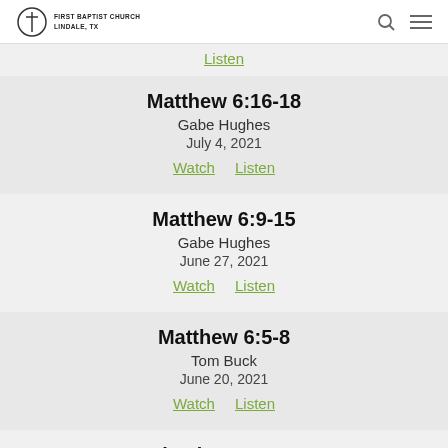First Baptist Church Lindale, TX
Listen
Matthew 6:16-18
Gabe Hughes
July 4, 2021
Watch   Listen
Matthew 6:9-15
Gabe Hughes
June 27, 2021
Watch   Listen
Matthew 6:5-8
Tom Buck
June 20, 2021
Watch   Listen
Ephesians 2:11-22
Owen Strachan
June 13, 2021